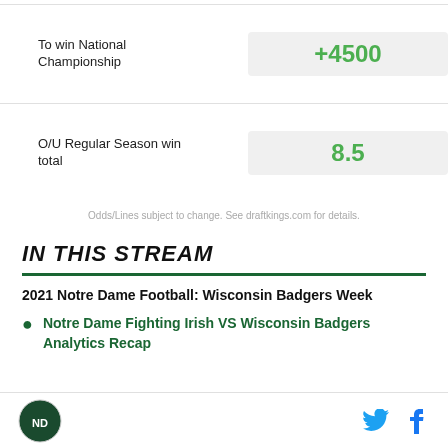|  |  |
| --- | --- |
| To win National Championship | +4500 |
| O/U Regular Season win total | 8.5 |
Odds/Lines subject to change. See draftkings.com for details.
IN THIS STREAM
2021 Notre Dame Football: Wisconsin Badgers Week
Notre Dame Fighting Irish VS Wisconsin Badgers Analytics Recap
Logo | Twitter | Facebook